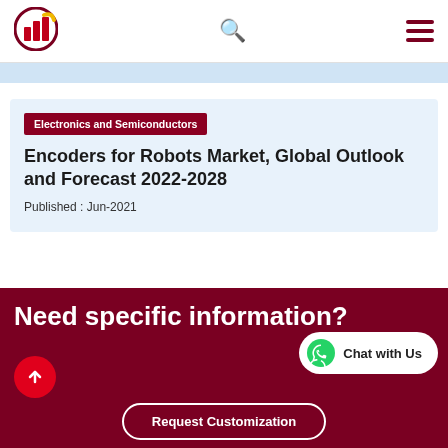[Figure (logo): Company logo: circular icon with red bar chart and yellow/gold accent, dark red border]
Electronics and Semiconductors
Encoders for Robots Market, Global Outlook and Forecast 2022-2028
Published : Jun-2021
Need specific information?
Chat with Us
Request Customization